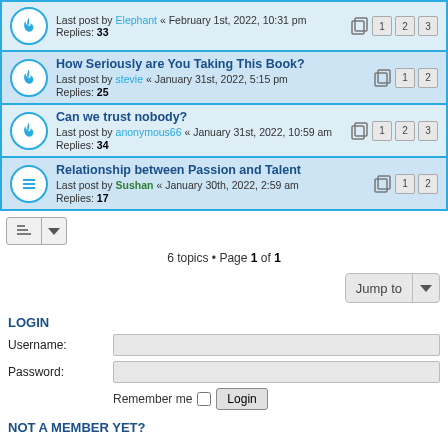Last post by Elephant « February 1st, 2022, 10:31 pm
Replies: 33
How Seriously are You Taking This Book?
Last post by stevie « January 31st, 2022, 5:15 pm
Replies: 25
Can we trust nobody?
Last post by anonymous66 « January 31st, 2022, 10:59 am
Replies: 34
Relationship between Passion and Talent
Last post by Sushan « January 30th, 2022, 2:59 am
Replies: 17
6 topics • Page 1 of 1
LOGIN
Username:
Password:
Remember me
NOT A MEMBER YET?